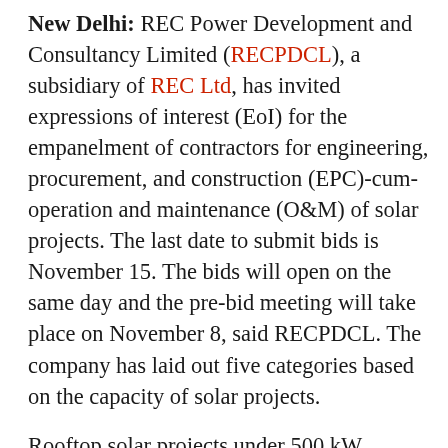New Delhi: REC Power Development and Consultancy Limited (RECPDCL), a subsidiary of REC Ltd, has invited expressions of interest (EoI) for the empanelment of contractors for engineering, procurement, and construction (EPC)-cum-operation and maintenance (O&M) of solar projects. The last date to submit bids is November 15. The bids will open on the same day and the pre-bid meeting will take place on November 8, said RECPDCL. The company has laid out five categories based on the capacity of solar projects.
Rooftop solar projects under 500 kW capacity fall under category A, while above 500 kW will be in Category B. Ground-mounted solar projects below 5 MW come under Category C and above 5 MW